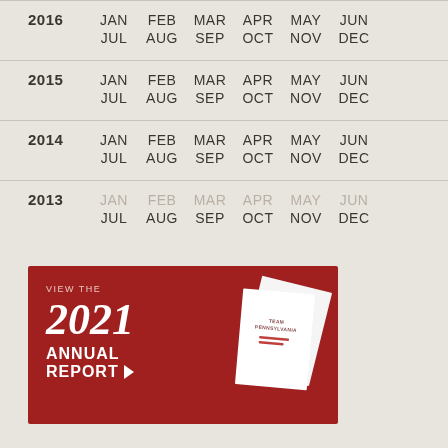2016  JAN  FEB  MAR  APR  MAY  JUN  JUL  AUG  SEP  OCT  NOV  DEC
2015  JAN  FEB  MAR  APR  MAY  JUN  JUL  AUG  SEP  OCT  NOV  DEC
2014  JAN  FEB  MAR  APR  MAY  JUN  JUL  AUG  SEP  OCT  NOV  DEC
2013  JAN  FEB  MAR  APR  MAY  JUN  JUL  AUG  SEP  OCT  NOV  DEC
[Figure (illustration): Red banner with '2021 ANNUAL REPORT' text with arrow button and document/booklet illustration showing Team Pennsylvania logo]